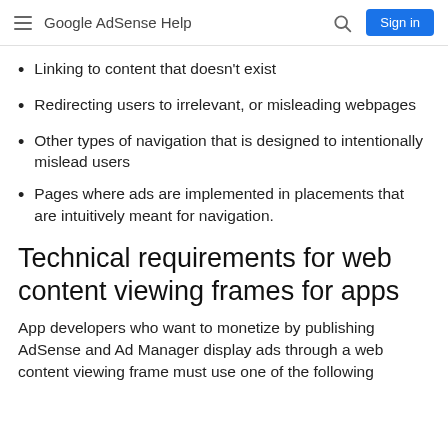Google AdSense Help
Linking to content that doesn't exist
Redirecting users to irrelevant, or misleading webpages
Other types of navigation that is designed to intentionally mislead users
Pages where ads are implemented in placements that are intuitively meant for navigation.
Technical requirements for web content viewing frames for apps
App developers who want to monetize by publishing AdSense and Ad Manager display ads through a web content viewing frame must use one of the following